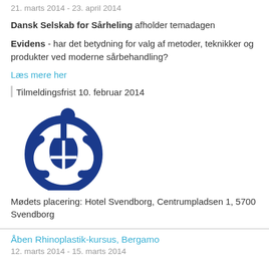21. marts 2014 - 23. april 2014
Dansk Selskab for Sårheling afholder temadagen
Evidens - har det betydning for valg af metoder, teknikker og produkter ved moderne sårbehandling?
Læs mere her
Tilmeldingsfrist 10. februar 2014
[Figure (logo): Blue logo of Dansk Selskab for Sårheling - stylized human figure with circular DSS emblem]
Mødets placering: Hotel Svendborg, Centrumpladsen 1, 5700 Svendborg
Åben Rhinoplastik-kursus, Bergamo
12. marts 2014 - 15. marts 2014